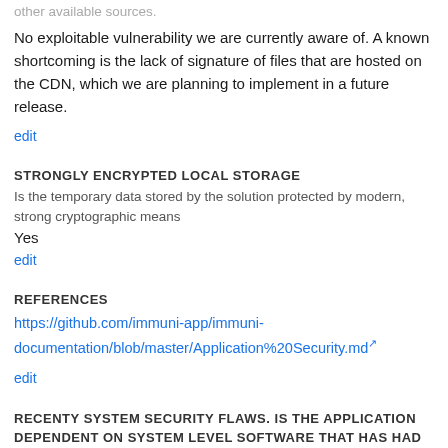currently unresolved, please provide a link to CVEs/bug reports or other available sources.
No exploitable vulnerability we are currently aware of. A known shortcoming is the lack of signature of files that are hosted on the CDN, which we are planning to implement in a future release.
edit
STRONGLY ENCRYPTED LOCAL STORAGE
Is the temporary data stored by the solution protected by modern, strong cryptographic means
Yes
edit
REFERENCES
https://github.com/immuni-app/immuni-documentation/blob/master/Application%20Security.md
edit
RECENTY SYSTEM SECURITY FLAWS. IS THE APPLICATION DEPENDENT ON SYSTEM LEVEL SOFTWARE THAT HAS HAD